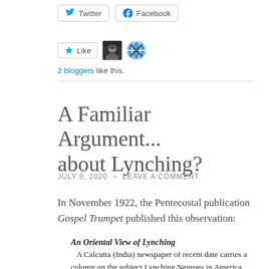[Figure (screenshot): Twitter and Facebook share buttons at the top]
[Figure (screenshot): Like button with two blogger avatars]
2 bloggers like this.
A Familiar Argument... about Lynching?
JULY 8, 2020 ~ LEAVE A COMMENT
In November 1922, the Pentecostal publication Gospel Trumpet published this observation:
An Oriental View of Lynching
A Calcutta (India) newspaper of recent date carries a column on the subject Lynching Negroes in America.